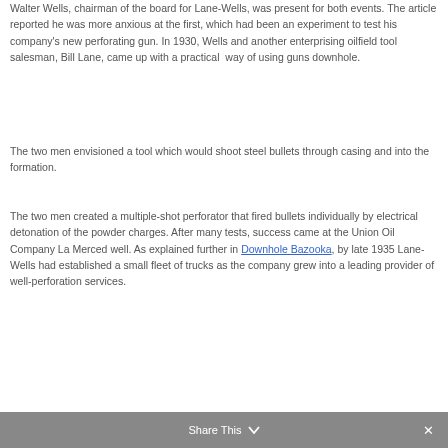Walter Wells, chairman of the board for Lane-Wells, was present for both events. The article reported he was more anxious at the first, which had been an experiment to test his company's new perforating gun. In 1930, Wells and another enterprising oilfield tool salesman, Bill Lane, came up with a practical way of using guns downhole.
The two men envisioned a tool which would shoot steel bullets through casing and into the formation.
The two men created a multiple-shot perforator that fired bullets individually by electrical detonation of the powder charges. After many tests, success came at the Union Oil Company La Merced well. As explained further in Downhole Bazooka, by late 1935 Lane-Wells had established a small fleet of trucks as the company grew into a leading provider of well-perforation services.
Share This ∨  ✕